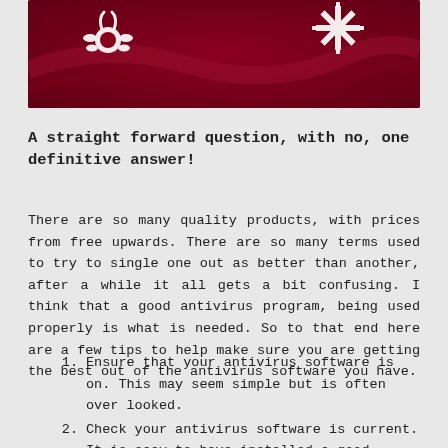[Figure (illustration): Dark red/maroon banner with white snowflake and decorative icons on a wavy background]
A straight forward question, with no, one definitive answer!
There are so many quality products, with prices from free upwards. There are so many terms used to try to single one out as better than another, after a while it all gets a bit confusing. I think that a good antivirus program, being used properly is what is needed. So to that end here are a few tips to help make sure you are getting the best out of the antivirus software you have.
Ensure that your antivirus software is on. This may seem simple but is often over looked.
Check your antivirus software is current. It is easy to have installed a good antivirus program but it's often not until